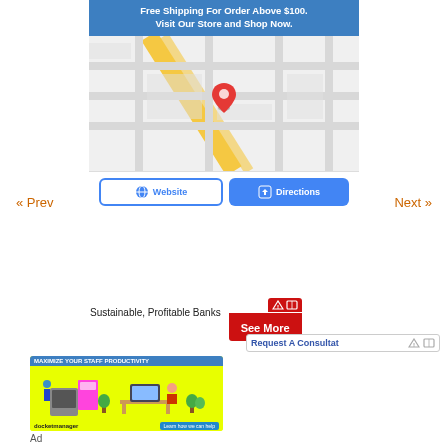[Figure (screenshot): Blue banner ad with text: Free Shipping For Order Above $100. Visit Our Store and Shop Now.]
[Figure (map): Street map with yellow roads and a red location pin in the center, with Website and Directions buttons below.]
« Prev
Next »
[Figure (screenshot): Ad for Sustainable, Profitable Banks with a red See More button and ad icon indicators.]
[Figure (screenshot): Ad with text: Request A Consultat with ad icon indicators.]
[Figure (screenshot): Yellow banner ad: MAXIMIZE YOUR STAFF PRODUCTIVITY - docketmanager with Learn how we can help button.]
Ad